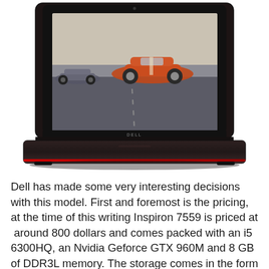[Figure (photo): Dell Inspiron laptop (gaming model) open and facing front, showing a racing game with orange sports car on screen. The laptop has a black chassis with red accent. The Dell logo is visible on the bottom bezel.]
Dell has made some very interesting decisions with this model. First and foremost is the pricing, at the time of this writing Inspiron 7559 is priced at  around 800 dollars and comes packed with an i5 6300HQ, an Nvidia Geforce GTX 960M and 8 GB of DDR3L memory. The storage comes in the form of a 1 TB 5400RPM + 8 GB SSD Hybrid...